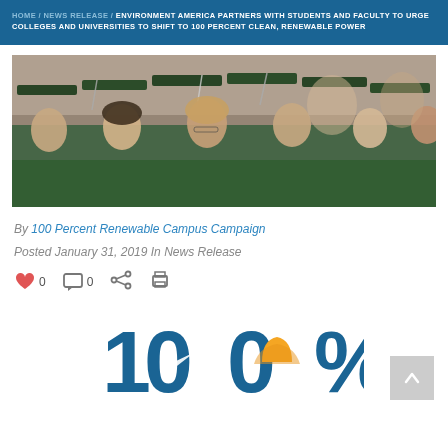HOME / NEWS RELEASE / ENVIRONMENT AMERICA PARTNERS WITH STUDENTS AND FACULTY TO URGE COLLEGES AND UNIVERSITIES TO SHIFT TO 100 PERCENT CLEAN, RENEWABLE POWER
[Figure (photo): Row of college graduates wearing green graduation caps and gowns at a graduation ceremony, viewed from the side.]
By 100 Percent Renewable Campus Campaign
Posted January 31, 2019  In News Release
[Figure (infographic): 100% logo with wind turbine icon in the first zero, sun/solar icon in the second zero, forming the text '100%' in blue with yellow/orange solar graphic.]